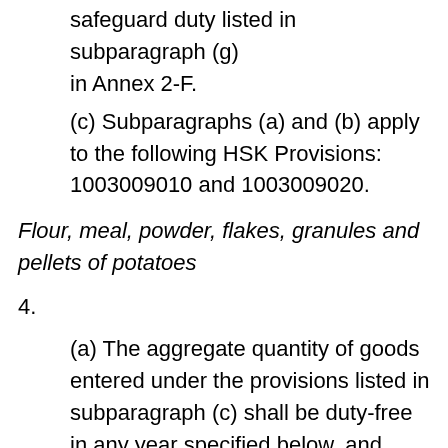safeguard duty listed in subparagraph (g) in Annex 2-F.
(c) Subparagraphs (a) and (b) apply to the following HSK Provisions: 1003009010 and 1003009020.
Flour, meal, powder, flakes, granules and pellets of potatoes
4.
(a) The aggregate quantity of goods entered under the provisions listed in subparagraph (c) shall be duty-free in any year specified below, and shall not exceed the quantities specified below for